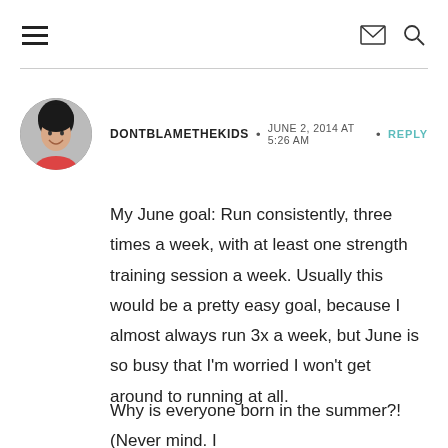≡  ✉  🔍
[Figure (photo): Circular avatar photo of a smiling woman with dark hair]
DONTBLAMETHEKIDS • JUNE 2, 2014 AT 5:26 AM • REPLY
My June goal: Run consistently, three times a week, with at least one strength training session a week. Usually this would be a pretty easy goal, because I almost always run 3x a week, but June is so busy that I'm worried I won't get around to running at all.
Why is everyone born in the summer?! (Never mind. I think I know.)